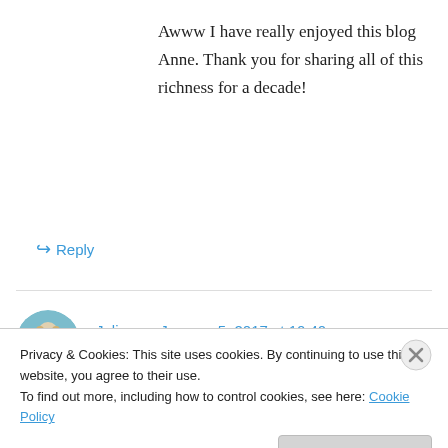Awww I have really enjoyed this blog Anne. Thank you for sharing all of this richness for a decade!
↳ Reply
Julian on January 5, 2017 at 10:40 am
NOOOOOOOOOO … actually, yes, I get it. Me too. Classy finish, enjoyed the video recap! Your blog really did make a difference in our lives, and
Privacy & Cookies: This site uses cookies. By continuing to use this website, you agree to their use. To find out more, including how to control cookies, see here: Cookie Policy
Close and accept